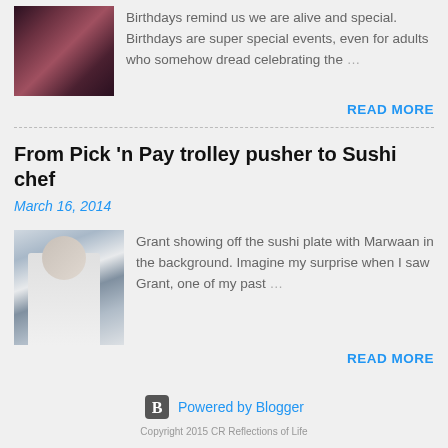[Figure (photo): Thumbnail photo of people at a party or birthday event, dark warm tones]
Birthdays remind us we are alive and special. Birthdays are super special events, even for adults who somehow dread celebrating the…
READ MORE
From Pick 'n Pay trolley pusher to Sushi chef
March 16, 2014
[Figure (photo): Photo of Grant, a young man in white chef uniform holding a sushi plate, with Marwaan in the background]
Grant showing off the sushi plate with Marwaan in the background. Imagine my surprise when I saw Grant, one of my past…
READ MORE
Powered by Blogger
Copyright 2015 CR Reflections of Life